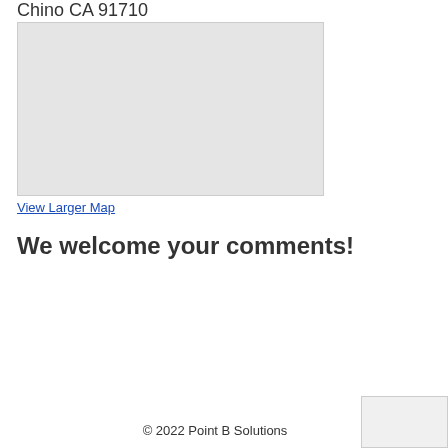Chino CA 91710
[Figure (map): A light grey map placeholder image]
View Larger Map
We welcome your comments!
© 2022 Point B Solutions